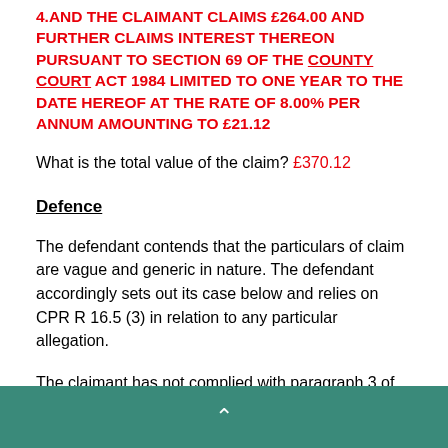4.AND THE CLAIMANT CLAIMS £264.00 AND FURTHER CLAIMS INTEREST THEREON PURSUANT TO SECTION 69 OF THE COUNTY COURT ACT 1984 LIMITED TO ONE YEAR TO THE DATE HEREOF AT THE RATE OF 8.00% PER ANNUM AMOUNTING TO £21.12
What is the total value of the claim? £370.12
Defence
The defendant contends that the particulars of claim are vague and generic in nature. The defendant accordingly sets out its case below and relies on CPR R 16.5 (3) in relation to any particular allegation.
The claimant has not complied with paragraph 3 of the PAPDC (pre action protocol) failed to serve a letter of claim pre claim